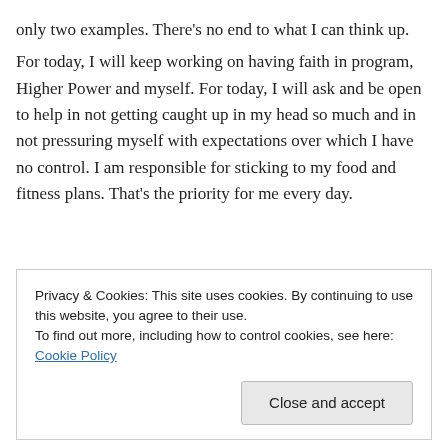only two examples.  There's no end to what I can think up.
For today, I will keep working on having faith in program, Higher Power and myself.  For today, I will ask and be open to help in not getting caught up in my head so much and in not pressuring myself with expectations over which I have no control.  I am responsible for sticking to my food and fitness plans.  That's the priority for me every day.
November 23, 2015    💬 1 Reply
Privacy & Cookies: This site uses cookies. By continuing to use this website, you agree to their use.
To find out more, including how to control cookies, see here: Cookie Policy
Close and accept